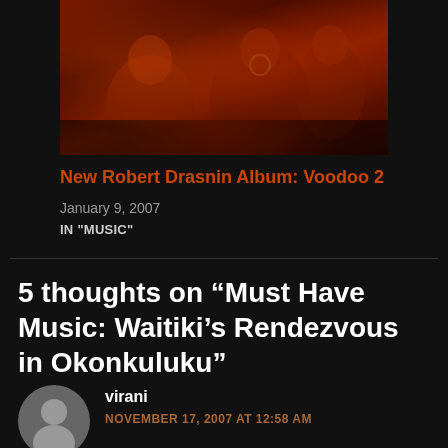[Figure (photo): Album cover image with dark reddish tones showing figures, used for Robert Drasnin Voodoo 2 album]
New Robert Drasnin Album: Voodoo 2
January 9, 2007
IN "MUSIC"
5 thoughts on “Must Have Music: Waitiki’s Rendezvous in Okonkuluku”
[Figure (photo): User avatar circle icon with silhouette of person, grey background]
virani
NOVEMBER 17, 2007 AT 12:58 AM